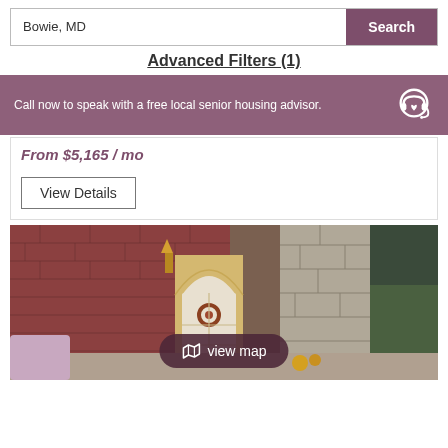Bowie, MD
Search
Advanced Filters (1)
Call now to speak with a free local senior housing advisor.
From $5,165 / mo
View Details
[Figure (photo): Exterior photo of a senior living facility showing brick and stone facade with arched white door, seasonal decorations, and outdoor seating area]
view map